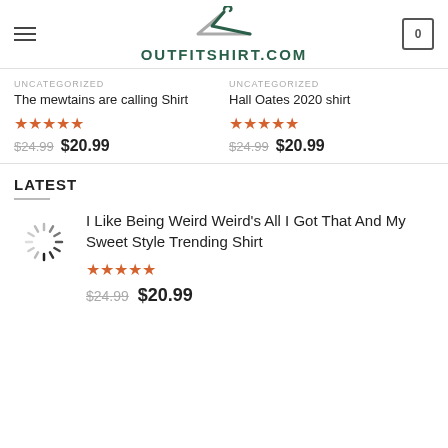OUTFITSHIRT.COM
UNCATEGORIZED
The mewtains are calling Shirt
★★★★★
$24.99  $20.99
UNCATEGORIZED
Hall Oates 2020 shirt
★★★★★
$24.99  $20.99
LATEST
I Like Being Weird Weird's All I Got That And My Sweet Style Trending Shirt
★★★★★
$24.99  $20.99